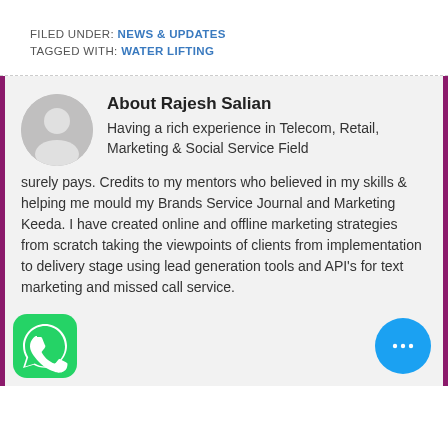FILED UNDER: NEWS & UPDATES
TAGGED WITH: WATER LIFTING
About Rajesh Salian
Having a rich experience in Telecom, Retail, Marketing & Social Service Field surely pays. Credits to my mentors who believed in my skills & helping me mould my Brands Service Journal and Marketing Keeda. I have created online and offline marketing strategies from scratch taking the viewpoints of clients from implementation to delivery stage using lead generation tools and API's for text marketing and missed call service.